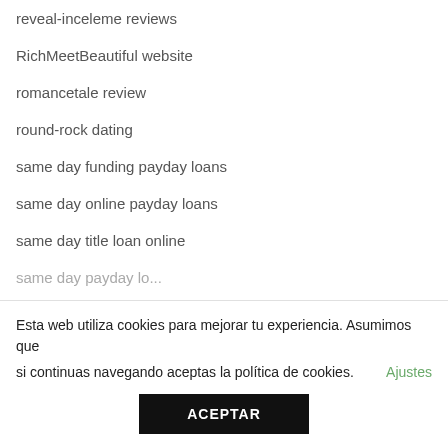reveal-inceleme reviews
RichMeetBeautiful website
romancetale review
round-rock dating
same day funding payday loans
same day online payday loans
same day title loan online
Esta web utiliza cookies para mejorar tu experiencia. Asumimos que si continuas navegando aceptas la política de cookies. Ajustes
ACEPTAR